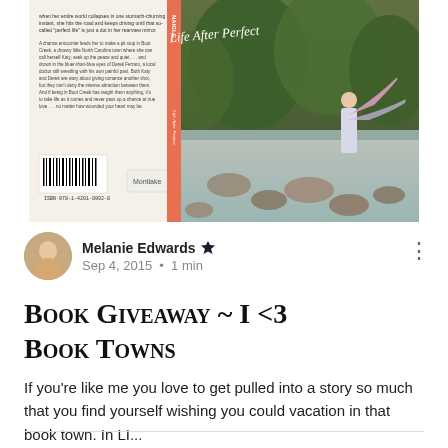[Figure (photo): Book cover of 'Life After Perfect' showing a woman standing in a rocky creek with a scarf blowing in the wind, surrounded by trees. The back cover has descriptive text and a barcode. The spine shows the author name and title.]
Melanie Edwards • Sep 4, 2015 • 1 min
Book Giveaway ~ I <3 Book Towns
If you're like me you love to get pulled into a story so much that you find yourself wishing you could vacation in that book town. In LI...